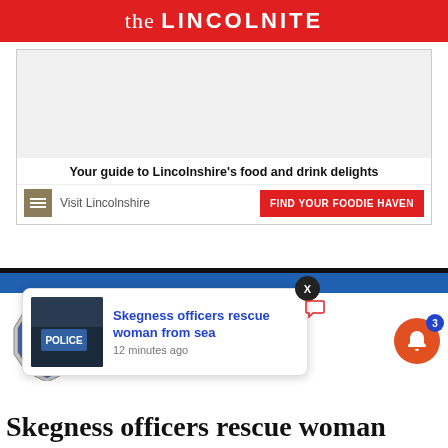the LINCOLNITE
[Figure (infographic): Advertisement banner for Visit Lincolnshire food and drink guide with tagline and CTA button 'FIND YOUR FOODIE HAVEN']
Your guide to Lincolnshire's food and drink delights
Visit Lincolnshire
FIND YOUR FOODIE HAVEN
[Figure (infographic): Lincolnshire Police section header with black and blue banner and police badge logo]
[Figure (screenshot): Push notification popup showing 'Skegness officers rescue woman from sea' with police thumbnail image, 12 minutes ago timestamp, close X button]
Skegness officers rescue woman from sea
12 minutes ago
Skegness officers rescue woman